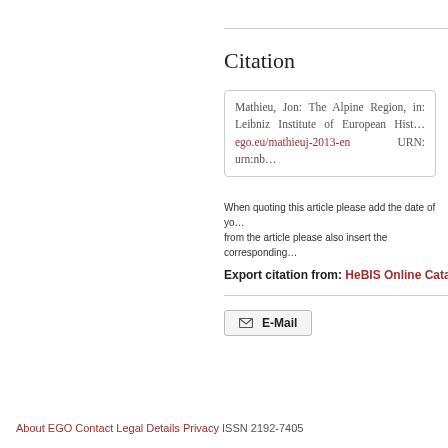Citation
Mathieu, Jon: The Alpine Region, in: Leibniz Institute of European Hist... ego.eu/mathieuj-2013-en URN: urn:nb...
When quoting this article please add the date of yo... from the article please also insert the corresponding...
Export citation from: HeBIS Online Cata...
E-Mail
About EGO Contact Legal Details Privacy ISSN 2192-7405